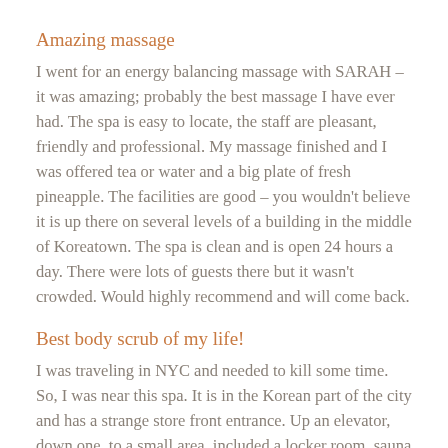Amazing massage
I went for an energy balancing massage with SARAH – it was amazing; probably the best massage I have ever had. The spa is easy to locate, the staff are pleasant, friendly and professional. My massage finished and I was offered tea or water and a big plate of fresh pineapple. The facilities are good – you wouldn't believe it is up there on several levels of a building in the middle of Koreatown. The spa is clean and is open 24 hours a day. There were lots of guests there but it wasn't crowded. Would highly recommend and will come back.
Best body scrub of my life!
I was traveling in NYC and needed to kill some time. So, I was near this spa. It is in the Korean part of the city and has a strange store front entrance. Up an elevator, down one, to a small area, included a locker room, sauna and steam room. That would have been two